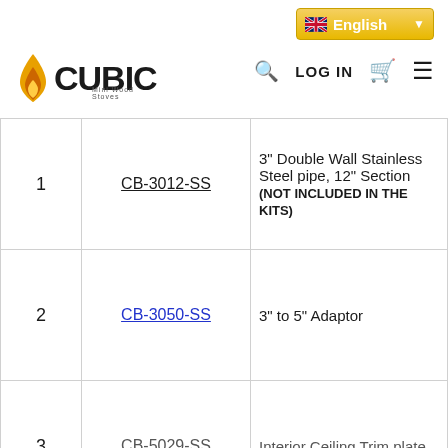CUBIC Mini Wood Stoves — English — LOG IN
| # | SKU | Description |
| --- | --- | --- |
| 1 | CB-3012-SS | 3" Double Wall Stainless Steel pipe, 12" Section (NOT INCLUDED IN THE KITS) |
| 2 | CB-3050-SS | 3" to 5" Adaptor |
| 3 | CB-5029-SS | Interior Ceiling Trim plate |